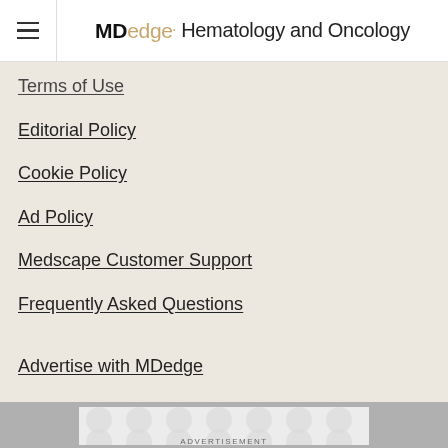MDedge· Hematology and Oncology
Terms of Use
Editorial Policy
Cookie Policy
Ad Policy
Medscape Customer Support
Frequently Asked Questions
Advertise with MDedge
See more with MDedge! See our Other Publications
MDedge: Keeping You Informed. Saving You Time.
[Figure (other): Advertisement banner with grey background and decorative circle pattern]